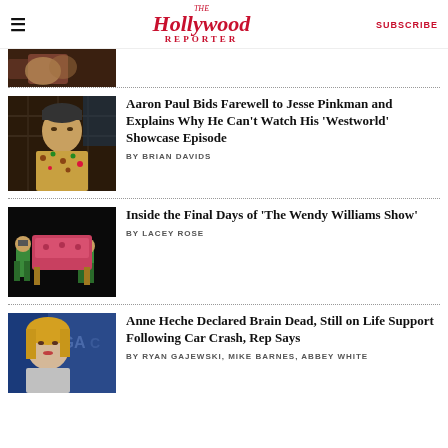The Hollywood Reporter | SUBSCRIBE
[Figure (photo): Partially visible article thumbnail at top of page]
Aaron Paul Bids Farewell to Jesse Pinkman and Explains Why He Can't Watch His 'Westworld' Showcase Episode
BY BRIAN DAVIDS
[Figure (photo): Two men in green shirts carrying a pink/red chair against a black background - The Wendy Williams Show]
Inside the Final Days of 'The Wendy Williams Show'
BY LACEY ROSE
[Figure (photo): Anne Heche at an event, blonde hair, against a blue background with 'DGA' text]
Anne Heche Declared Brain Dead, Still on Life Support Following Car Crash, Rep Says
BY RYAN GAJEWSKI, MIKE BARNES, ABBEY WHITE